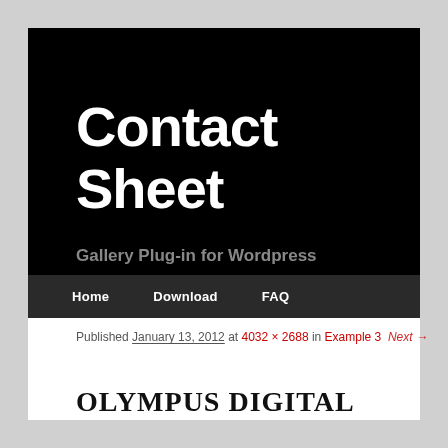Contact Sheet
Gallery Plug-in for Wordpress
Home   Download   FAQ
Published January 13, 2012 at 4032 × 2688 in Example 3   Next →
OLYMPUS DIGITAL